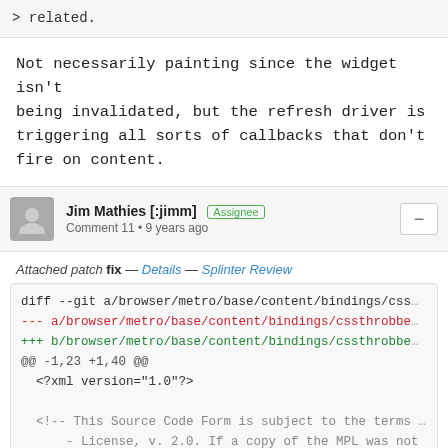> related.
Not necessarily painting since the widget isn't being invalidated, but the refresh driver is triggering all sorts of callbacks that don't fire on content.
Jim Mathies [:jimm] Assignee
Comment 11 • 9 years ago
Attached patch fix — Details — Splinter Review
diff --git a/browser/metro/base/content/bindings/css
--- a/browser/metro/base/content/bindings/cssthrobbe
+++ b/browser/metro/base/content/bindings/cssthrobbe
@@ -1,23 +1,40 @@
  <?xml version="1.0"?>

  <!-- This Source Code Form is subject to the terms
       - License, v. 2.0. If a copy of the MPL was not
       - file, You can obtain one at http://mozilla.org